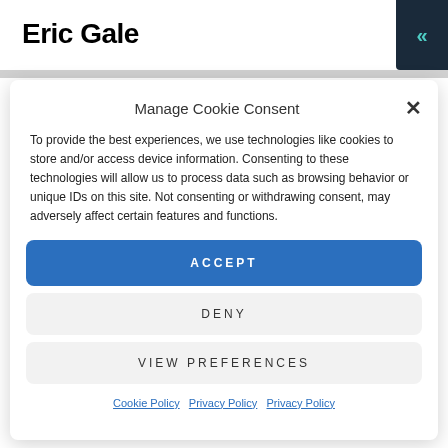Eric Gale
[Figure (screenshot): Dark teal back-navigation button with << chevron icon in top right corner]
Manage Cookie Consent
To provide the best experiences, we use technologies like cookies to store and/or access device information. Consenting to these technologies will allow us to process data such as browsing behavior or unique IDs on this site. Not consenting or withdrawing consent, may adversely affect certain features and functions.
ACCEPT
DENY
VIEW PREFERENCES
Cookie Policy   Privacy Policy   Privacy Policy